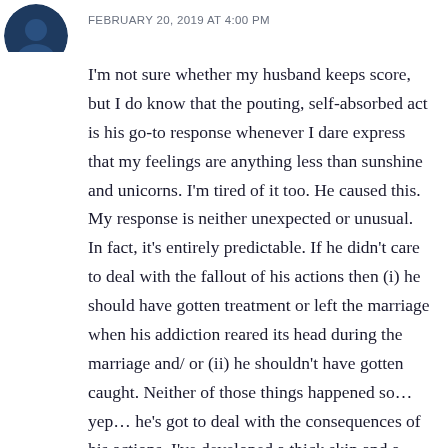[Figure (illustration): Partial circular avatar image, dark navy/teal color, cropped at top-left corner]
FEBRUARY 20, 2019 AT 4:00 PM
I'm not sure whether my husband keeps score, but I do know that the pouting, self-absorbed act is his go-to response whenever I dare express that my feelings are anything less than sunshine and unicorns. I'm tired of it too. He caused this. My response is neither unexpected or unusual. In fact, it's entirely predictable. If he didn't care to deal with the fallout of his actions then (i) he should have gotten treatment or left the marriage when his addiction reared its head during the marriage and/ or (ii) he shouldn't have gotten caught. Neither of those things happened so… yep… he's got to deal with the consequences of his actions. I've developed a thick skin and a deaf ear to most of the pouting